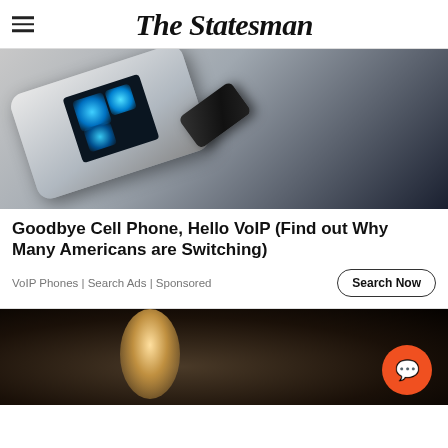The Statesman
[Figure (photo): A futuristic smartphone or mobile device with a glowing blue screen showing folder icons, with a USB drive inserted, on a grey surface — used as advertisement image for VoIP phones.]
Goodbye Cell Phone, Hello VoIP (Find out Why Many Americans are Switching)
VoIP Phones | Search Ads | Sponsored
[Figure (photo): Dark image showing a person partially illuminated, with an orange circular chat/comment button in the bottom right corner.]